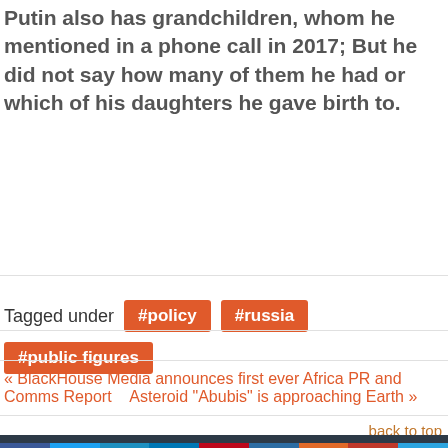Putin also has grandchildren, whom he mentioned in a phone call in 2017; But he did not say how many of them he had or which of his daughters he gave birth to.
Tagged under  #policy  #russia  #public figures
« BlackHouse Media announces first ever Africa PR and Comms Report   Asteroid "Abubis" is approaching Earth »
back to top